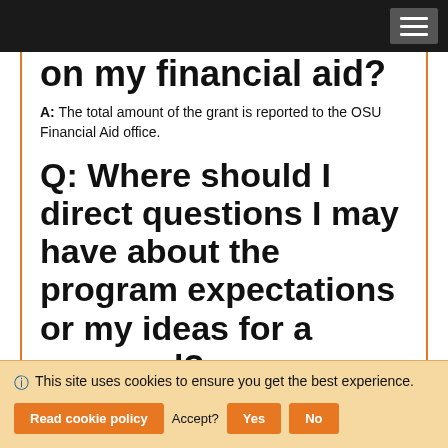on my financial aid?
A: The total amount of the grant is reported to the OSU Financial Aid office.
Q: Where should I direct questions I may have about the program expectations or my ideas for a proposal?
A: Any of the Humphreys Chairs. There are currently five, and their contact information is available on a link found on the main website page. Naturally, you should also discuss your idea and proposal with your faculty members in the
This site uses cookies to ensure you get the best experience. Read cookie policy Accept? Yes No